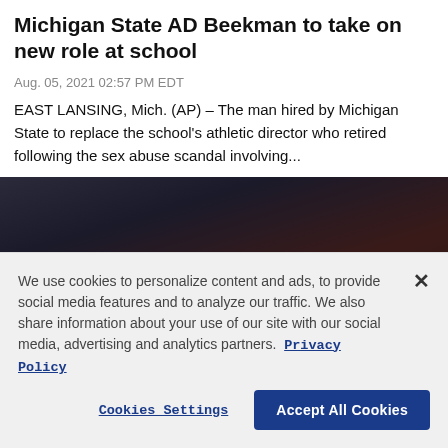Michigan State AD Beekman to take on new role at school
Aug. 05, 2021 02:57 PM EDT
EAST LANSING, Mich. (AP) – The man hired by Michigan State to replace the school's athletic director who retired following the sex abuse scandal involving...
[Figure (photo): Dark blurred image, appears to be a sports or event photo]
We use cookies to personalize content and ads, to provide social media features and to analyze our traffic. We also share information about your use of our site with our social media, advertising and analytics partners. Privacy Policy
Cookies Settings | Accept All Cookies